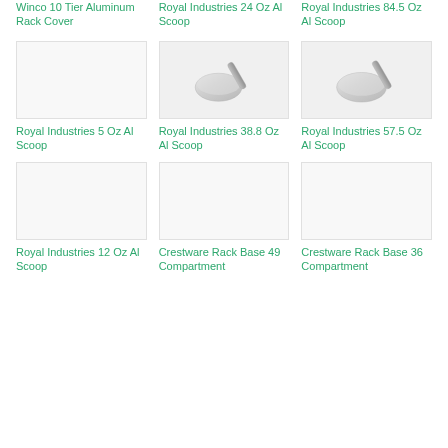Winco 10 Tier Aluminum Rack Cover
Royal Industries 24 Oz Al Scoop
Royal Industries 84.5 Oz Al Scoop
[Figure (photo): Royal Industries 5 Oz Al Scoop - empty product image]
Royal Industries 5 Oz Al Scoop
[Figure (photo): Royal Industries 38.8 Oz Al Scoop - aluminum scoop product image]
Royal Industries 38.8 Oz Al Scoop
[Figure (photo): Royal Industries 57.5 Oz Al Scoop - aluminum scoop product image]
Royal Industries 57.5 Oz Al Scoop
[Figure (photo): Royal Industries 12 Oz Al Scoop - empty product image]
Royal Industries 12 Oz Al Scoop
[Figure (photo): Crestware Rack Base 49 Compartment - empty product image]
Crestware Rack Base 49 Compartment
[Figure (photo): Crestware Rack Base 36 Compartment - empty product image]
Crestware Rack Base 36 Compartment